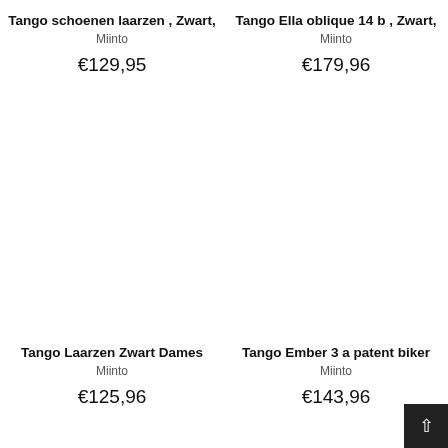Tango schoenen laarzen , Zwart,
Miinto
€129,95
Tango Ella oblique 14 b , Zwart,
Miinto
€179,96
Tango Laarzen Zwart Dames
Miinto
€125,96
Tango Ember 3 a patent biker
Miinto
€143,96